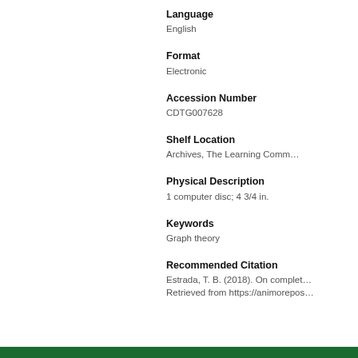Language
English
Format
Electronic
Accession Number
CDTG007628
Shelf Location
Archives, The Learning Comm…
Physical Description
1 computer disc; 4 3/4 in.
Keywords
Graph theory
Recommended Citation
Estrada, T. B. (2018). On complet… Retrieved from https://animorepos…